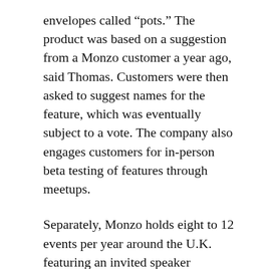envelopes called “pots.” The product was based on a suggestion from a Monzo customer a year ago, said Thomas. Customers were then asked to suggest names for the feature, which was eventually subject to a vote. The company also engages customers for in-person beta testing of features through meetups.
Separately, Monzo holds eight to 12 events per year around the U.K. featuring an invited speaker followed by a networking session over food and drinks. Like SoFi and Umpqua Bank, which host community events with the plan of turning customers into brand evangelists, Monzo’s social events are part of a wider trend of event planning to engage with customers. Thomas declined to specify how much the company spends on community-based marketing, but said each event costs around “a couple of hundred